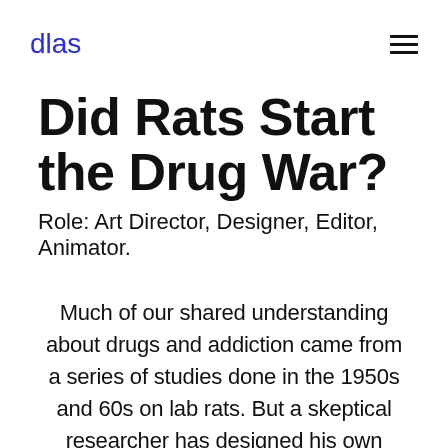dlas
Did Rats Start the Drug War?
Role: Art Director, Designer, Editor, Animator.
Much of our shared understanding about drugs and addiction came from a series of studies done in the 1950s and 60s on lab rats. But a skeptical researcher has designed his own study that involves, well... essentially an amusement park for rats, and the surprising results may show that everything we think we